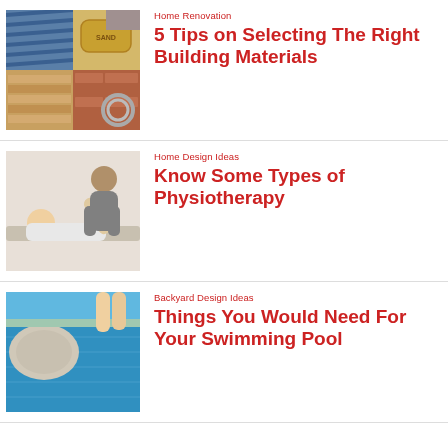[Figure (photo): Collage of building materials: rods, sand bag, carpet, lumber, bricks, wire coil]
Home Renovation
5 Tips on Selecting The Right Building Materials
[Figure (photo): Physiotherapist treating a patient lying on a table, bending their leg]
Home Design Ideas
Know Some Types of Physiotherapy
[Figure (photo): Blue swimming pool with a stone or rock at the edge, person standing nearby]
Backyard Design Ideas
Things You Would Need For Your Swimming Pool